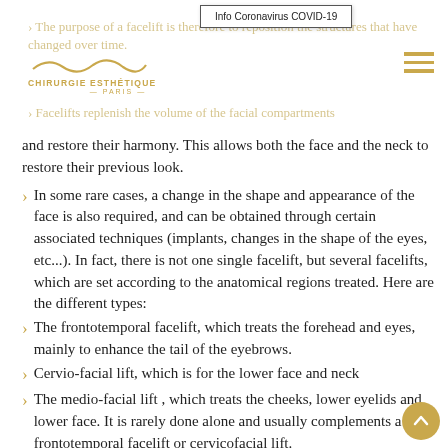Chirurgie Esthetique Paris | Info Coronavirus COVID-19
and restore their harmony. This allows both the face and the neck to restore their previous look.
In some rare cases, a change in the shape and appearance of the face is also required, and can be obtained through certain associated techniques (implants, changes in the shape of the eyes, etc...). In fact, there is not one single facelift, but several facelifts, which are set according to the anatomical regions treated. Here are the different types:
The frontotemporal facelift, which treats the forehead and eyes, mainly to enhance the tail of the eyebrows.
Cervio-facial lift, which is for the lower face and neck
The medio-facial lift , which treats the cheeks, lower eyelids and lower face. It is rarely done alone and usually complements a frontotemporal facelift or cervicofacial lift.
Facelifts accompanied by lipofilling (fat reinjection into